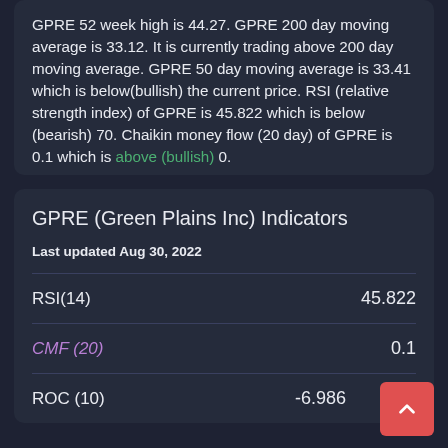GPRE 52 week high is 44.27. GPRE 200 day moving average is 33.12. It is currently trading above 200 day moving average. GPRE 50 day moving average is 33.41 which is below(bullish) the current price. RSI (relative strength index) of GPRE is 45.822 which is below (bearish) 70. Chaikin money flow (20 day) of GPRE is 0.1 which is above (bullish) 0.
GPRE (Green Plains Inc) Indicators
Last updated Aug 30, 2022
| Indicator | Value |
| --- | --- |
| RSI(14) | 45.822 |
| CMF (20) | 0.1 |
| ROC (10) | -6.986 |